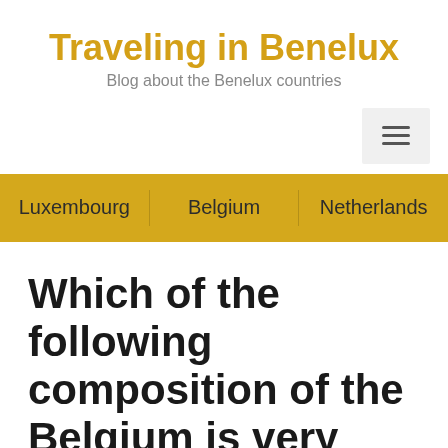Traveling in Benelux
Blog about the Benelux countries
Luxembourg   Belgium   Netherlands
Which of the following composition of the Belgium is very complex?